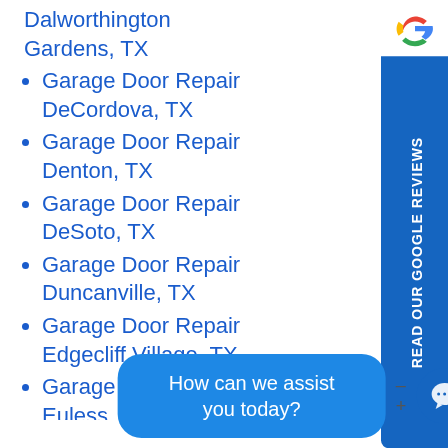Dalworthington Gardens, TX
Garage Door Repair DeCordova, TX
Garage Door Repair Denton, TX
Garage Door Repair DeSoto, TX
Garage Door Repair Duncanville, TX
Garage Door Repair Edgecliff Village, TX
Garage Door Repair Euless, TX
Garage Door Repair
Rainbow, TX
Garage Door Repair Red Oak, TX
Garage Door Repair Rendon, TX
Garage Door Repair Reno, TX
Garage Door Repair Richardson, TX
Garage Door Repair Richland Hills, TX
Garage Door Repair Rio Vista, TX
READ OUR GOOGLE REVIEWS
How can we assist you today?